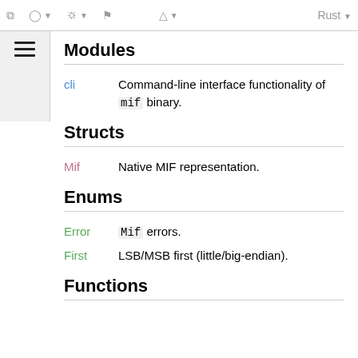Rust toolbar/navigation bar
Modules
cli — Command-line interface functionality of mif binary.
Structs
Mif — Native MIF representation.
Enums
Error — Mif errors.
First — LSB/MSB first (little/big-endian).
Functions